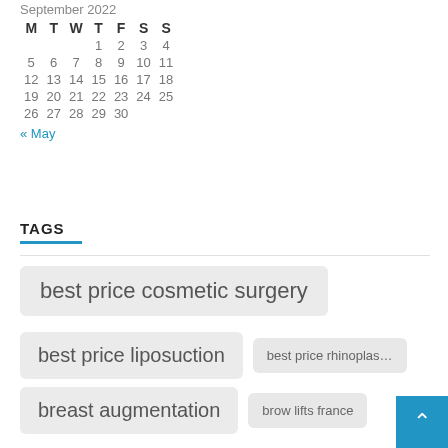September 2022
| M | T | W | T | F | S | S |
| --- | --- | --- | --- | --- | --- | --- |
|  |  |  | 1 | 2 | 3 | 4 |
| 5 | 6 | 7 | 8 | 9 | 10 | 11 |
| 12 | 13 | 14 | 15 | 16 | 17 | 18 |
| 19 | 20 | 21 | 22 | 23 | 24 | 25 |
| 26 | 27 | 28 | 29 | 30 |  |  |
« May
TAGS
best price cosmetic surgery
best price liposuction
best price rhinoplasty
breast augmentation
brow lifts france